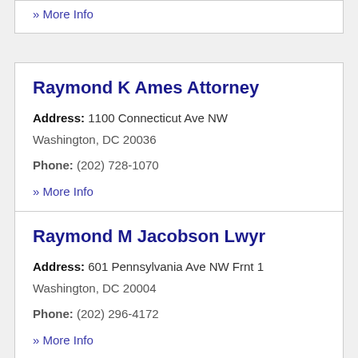» More Info
Raymond K Ames Attorney
Address: 1100 Connecticut Ave NW Washington, DC 20036
Phone: (202) 728-1070
» More Info
Raymond M Jacobson Lwyr
Address: 601 Pennsylvania Ave NW Frnt 1 Washington, DC 20004
Phone: (202) 296-4172
» More Info